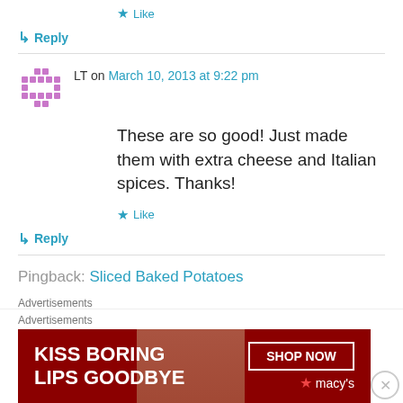★ Like
↳ Reply
LT on March 10, 2013 at 9:22 pm
These are so good! Just made them with extra cheese and Italian spices. Thanks!
★ Like
↳ Reply
Pingback: Sliced Baked Potatoes
Advertisements
[Figure (screenshot): Macy's advertisement: KISS BORING LIPS GOODBYE with SHOP NOW button and Macy's logo on red background]